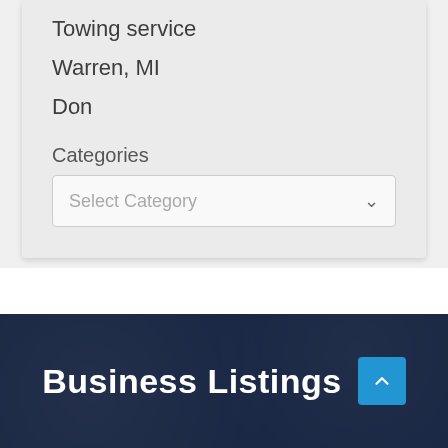Towing service
Warren, MI
Don
Categories
Select Category
Business Listings